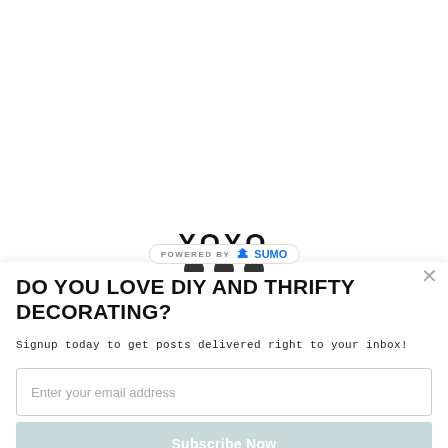[Figure (logo): YOYO or similar blog logo partially visible at top center, with social media icons below]
POWERED BY SUMO
DO YOU LOVE DIY AND THRIFTY DECORATING?
Signup today to get posts delivered right to your inbox!
Enter your email address
Subscribe Now